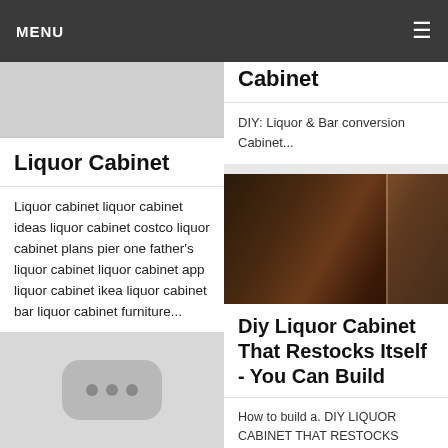MENU
[Figure (photo): Gray placeholder image at top of left column card]
Liquor Cabinet
Liquor cabinet liquor cabinet ideas liquor cabinet costco liquor cabinet plans pier one father's liquor cabinet liquor cabinet app liquor cabinet ikea liquor cabinet bar liquor cabinet furniture...
Cabinet
DIY: Liquor & Bar conversion Cabinet...
[Figure (photo): Photo of dark wooden cabinet with hand reaching in]
Diy Liquor Cabinet That Restocks Itself - You Can Build
How to build a. DIY LIQUOR CABINET THAT RESTOCKS ITSELF - You
[Figure (photo): Gray placeholder image with three dots icon at bottom of left column]